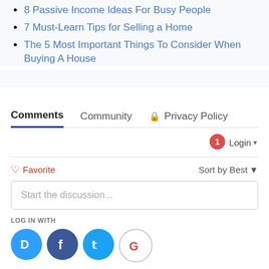8 Passive Income Ideas For Busy People
7 Must-Learn Tips for Selling a Home
The 5 Most Important Things To Consider When Buying A House
Comments  Community  Privacy Policy
Login
♡ Favorite    Sort by Best
Start the discussion...
LOG IN WITH
[Figure (infographic): Social login icons: Disqus (blue), Facebook (dark blue), Twitter (light blue), Google (white/red G)]
OR SIGN UP WITH DISQUS ?